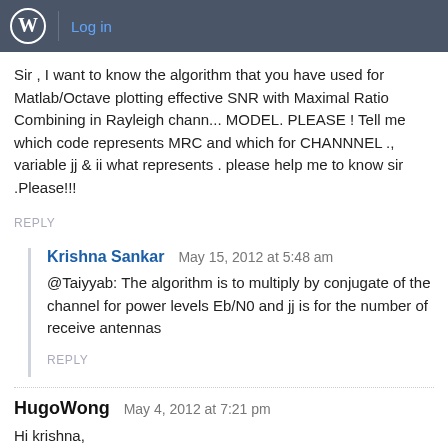Log in
Sir , I want to know the algorithm that you have used for Matlab/Octave plotting effective SNR with Maximal Ratio Combining in Rayleigh channel MODEL. PLEASE ! Tell me which code represents MRC and which for CHANNNEL ., variable jj & ii what represents . please help me to know sir .Please!!!
REPLY
Krishna Sankar  May 15, 2012 at 5:48 am
@Taiyyab: The algorithm is to multiply by conjugate of the channel for power levels Eb/N0 and jj is for the number of receive antennas
REPLY
HugoWong  May 4, 2012 at 7:21 pm
Hi krishna,